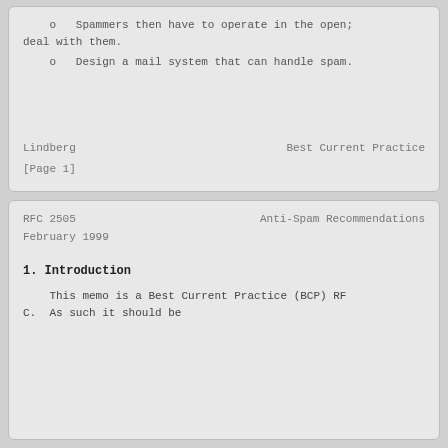o   Spammers then have to operate in the open;
deal with them.
o   Design a mail system that can handle spam.
Lindberg                    Best Current Practice
[Page 1]
RFC 2505              Anti-Spam Recommendations
February 1999
1. Introduction
This memo is a Best Current Practice (BCP) RF
C.  As such it should be